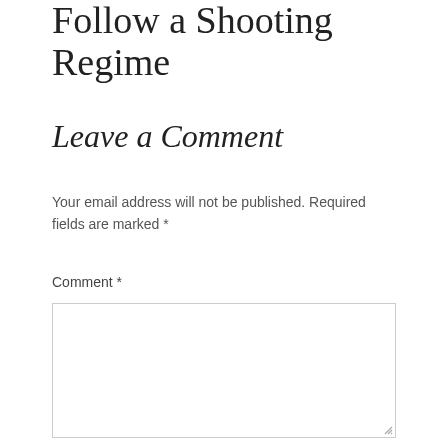Follow a Shooting Regime
Leave a Comment
Your email address will not be published. Required fields are marked *
Comment *
[Figure (other): Comment text input textarea, empty, with resize handle in bottom-right corner]